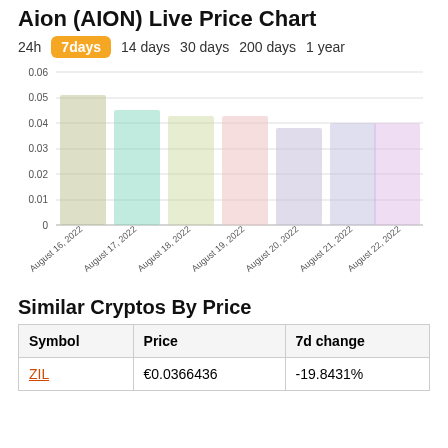Aion (AION) Live Price Chart
[Figure (bar-chart): Aion (AION) Live Price Chart - 7days]
Similar Cryptos By Price
| Symbol | Price | 7d change |
| --- | --- | --- |
| ZIL | €0.0366436 | -19.8431% |